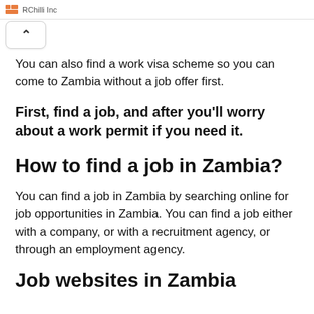RChilli Inc
You can also find a work visa scheme so you can come to Zambia without a job offer first.
First, find a job, and after you'll worry about a work permit if you need it.
How to find a job in Zambia?
You can find a job in Zambia by searching online for job opportunities in Zambia. You can find a job either with a company, or with a recruitment agency, or through an employment agency.
Job websites in Zambia